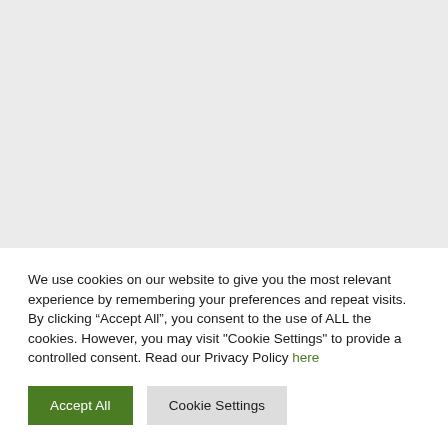[Figure (other): Gray background area representing a webpage content area partially obscured by a cookie consent banner]
We use cookies on our website to give you the most relevant experience by remembering your preferences and repeat visits. By clicking “Accept All”, you consent to the use of ALL the cookies. However, you may visit "Cookie Settings" to provide a controlled consent. Read our Privacy Policy here
Accept All
Cookie Settings